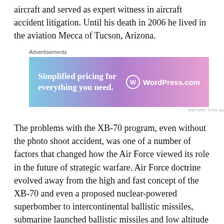aircraft and served as expert witness in aircraft accident litigation. Until his death in 2006 he lived in the aviation Mecca of Tucson, Arizona.
[Figure (other): Advertisement banner for WordPress.com: 'Simplified pricing for everything you need.' with WordPress.com logo on a blue-purple gradient background.]
The problems with the XB-70 program, even without the photo shoot accident, was one of a number of factors that changed how the Air Force viewed its role in the future of strategic warfare. Air Force doctrine evolved away from the high and fast concept of the XB-70 and even a proposed nuclear-powered superbomber to intercontinental ballistic missiles, submarine launched ballistic missiles and low altitude penetration bombing. A new era of aircraft design was also secretly underway called “stealth”. It